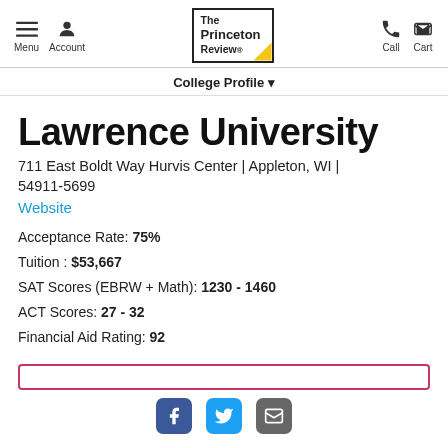Menu | Account | The Princeton Review | Call | Cart
College Profile
Lawrence University
711 East Boldt Way Hurvis Center | Appleton, WI | 54911-5699
Website
Acceptance Rate: 75%
Tuition : $53,667
SAT Scores (EBRW + Math): 1230 - 1460
ACT Scores: 27 - 32
Financial Aid Rating: 92